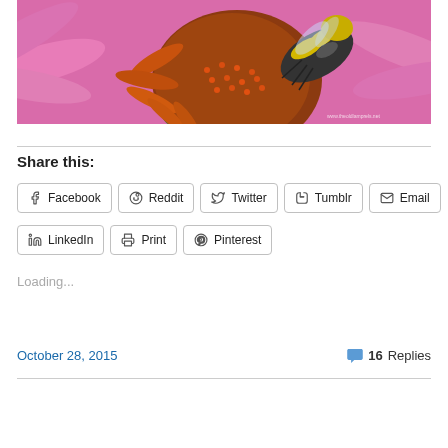[Figure (photo): Close-up macro photograph of a bumblebee on a pink coneflower (echinacea), showing the bee's fuzzy yellow and black body on the orange and red spiky center of the flower with pink petals radiating outward. A small watermark is visible in the lower right corner.]
Share this:
Facebook  Reddit  Twitter  Tumblr  Email  LinkedIn  Print  Pinterest
Loading...
October 28, 2015
16 Replies